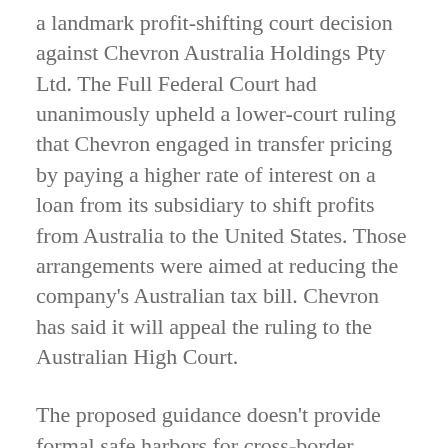a landmark profit-shifting court decision against Chevron Australia Holdings Pty Ltd. The Full Federal Court had unanimously upheld a lower-court ruling that Chevron engaged in transfer pricing by paying a higher rate of interest on a loan from its subsidiary to shift profits from Australia to the United States. Those arrangements were aimed at reducing the company's Australian tax bill. Chevron has said it will appeal the ruling to the Australian High Court.
The proposed guidance doesn't provide formal safe harbors for cross-border related party financing arrangements. It also doesn't contain detailed technical or legal analysis of the issues.
Implications for Intragroup Financing Arrangements